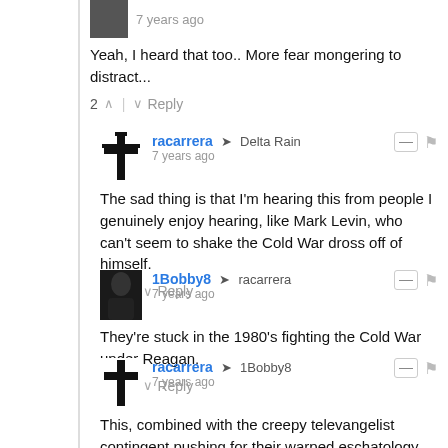7 years ago
Yeah, I heard that too.. More fear mongering to distract...
2 ^ | v Reply
racarrera → Delta Rain
7 years ago
The sad thing is that I'm hearing this from people I genuinely enjoy hearing, like Mark Levin, who can't seem to shake the Cold War dross off of himself.
7 ^ | v Reply
1Bobby8 → racarrera
7 years ago
They're stuck in the 1980's fighting the Cold War under Reagan.
5 ^ | v Reply
racarrera → 1Bobby8
7 years ago
This, combined with the creepy televangelist contingent pushing for their warped eschatology,